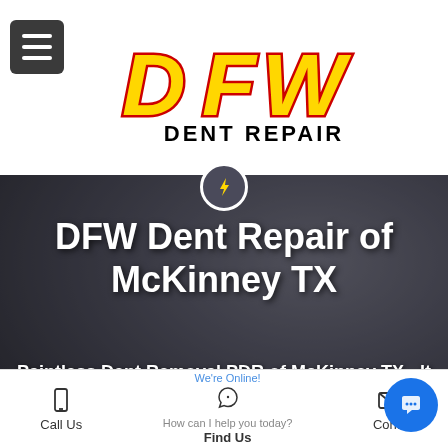[Figure (logo): DFW Dent Repair logo with large yellow stylized letters D, F, W with red outlines, and 'DENT REPAIR' in black text below on white background]
DFW Dent Repair of McKinney TX
Paintless Dent Removal PDR of McKinney TX - It Really Works!
Call Us   Find Us   Contact